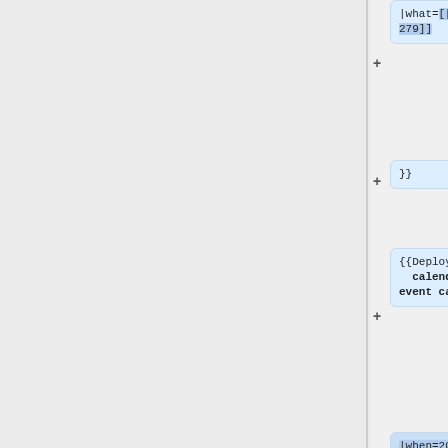|what=[[:phab:T305279]]
}}
{{Deployment calendar event card
|when=2022-05-16 06:00 SF
|length=1
|window=[[Backport windows|UTC afternoon backport window]]